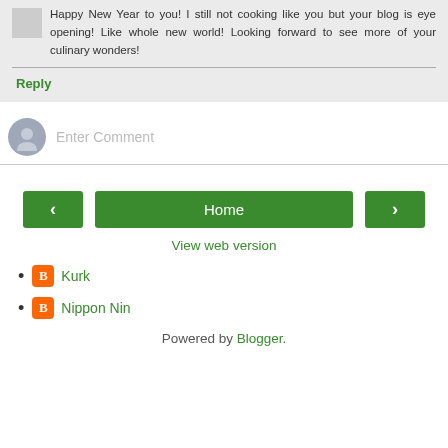Happy New Year to you! I still not cooking like you but your blog is eye opening! Like whole new world! Looking forward to see more of your culinary wonders!
Reply
Enter Comment
Home
View web version
Kurk
Nippon Nin
Powered by Blogger.